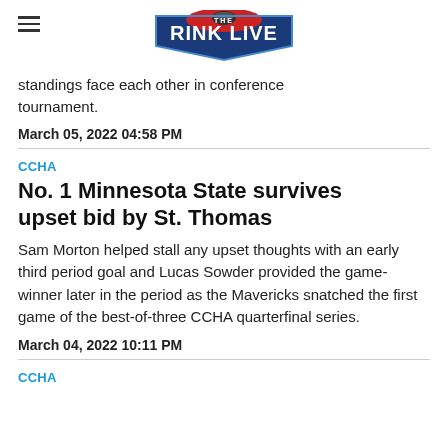THE RINK LIVE (logo)
standings face each other in conference tournament.
March 05, 2022 04:58 PM
CCHA
No. 1 Minnesota State survives upset bid by St. Thomas
Sam Morton helped stall any upset thoughts with an early third period goal and Lucas Sowder provided the game-winner later in the period as the Mavericks snatched the first game of the best-of-three CCHA quarterfinal series.
March 04, 2022 10:11 PM
CCHA